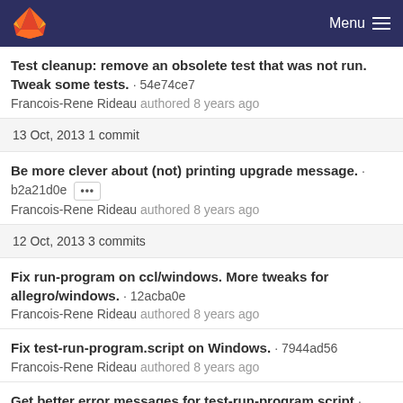GitLab — Menu
Test cleanup: remove an obsolete test that was not run. Tweak some tests. · 54e74ce7
Francois-Rene Rideau authored 8 years ago
13 Oct, 2013 1 commit
Be more clever about (not) printing upgrade message. · b2a21d0e ••• 
Francois-Rene Rideau authored 8 years ago
12 Oct, 2013 3 commits
Fix run-program on ccl/windows. More tweaks for allegro/windows. · 12acba0e
Francois-Rene Rideau authored 8 years ago
Fix test-run-program.script on Windows. · 7944ad56
Francois-Rene Rideau authored 8 years ago
Get better error messages for test-run-program.script ·